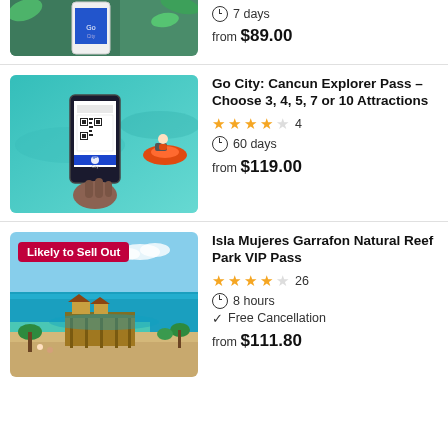[Figure (photo): Partial top of listing: hand holding phone with Go City app, tropical plants background]
7 days
from $89.00
Go City: Cancun Explorer Pass – Choose 3, 4, 5, 7 or 10 Attractions
★★★★☆ 4
60 days
from $119.00
[Figure (photo): Aerial view of Isla Mujeres Garrafon Natural Reef Park with pier and turquoise water]
Isla Mujeres Garrafon Natural Reef Park VIP Pass
★★★★☆ 26
8 hours
Free Cancellation
from $111.80